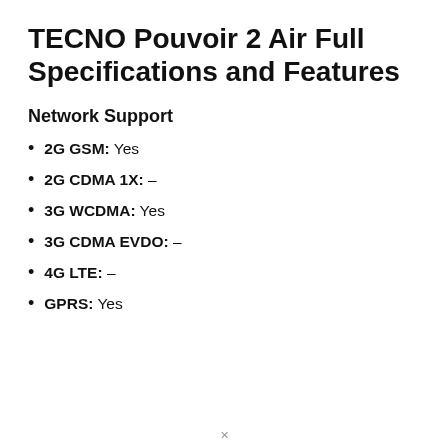TECNO Pouvoir 2 Air Full Specifications and Features
Network Support
2G GSM: Yes
2G CDMA 1X: –
3G WCDMA: Yes
3G CDMA EVDO: –
4G LTE: –
GPRS: Yes